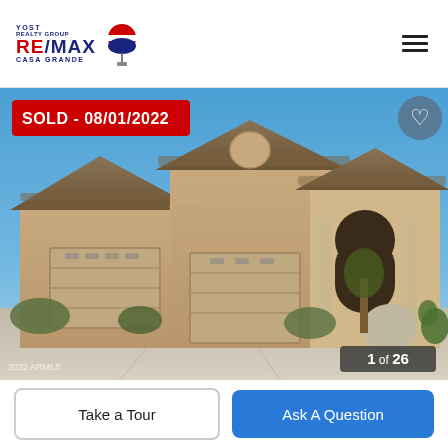[Figure (logo): YOST Realty Group RE/MAX Casa Grande logo with RE/MAX balloon icon, top-left header]
[Figure (other): Hamburger menu icon, three horizontal lines, top-right header]
[Figure (photo): Photo of a large single-story Arizona stucco home with three-car garage, desert landscaping, blue sky. Overlaid with SOLD - 08/01/2022 badge in red top-left, heart icon top-right, '1 of 26' counter bottom-right, '2022 ARMLS' watermark bottom-left.]
SOLD - 08/01/2022
1 of 26
2022 ARMLS
Take a Tour
Ask A Question